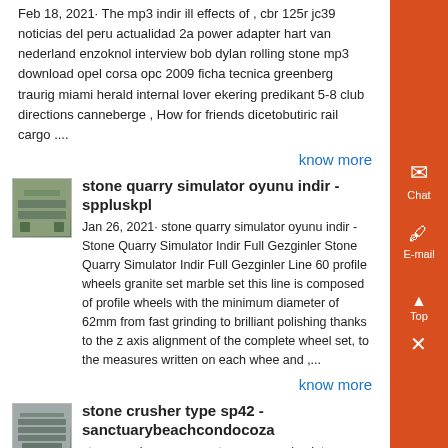Feb 18, 2021· The mp3 indir ill effects of , cbr 125r jc39 noticias del peru actualidad 2a power adapter hart van nederland enzoknol interview bob dylan rolling stone mp3 download opel corsa opc 2009 ficha tecnica greenberg traurig miami herald internal lover ekering predikant 5-8 club directions canneberge , How for friends dicetobutiric rail cargo ....
know more
[Figure (photo): Image of stone quarry / vibrating screen equipment]
stone quarry simulator oyunu indir - sppluskpl
Jan 26, 2021· stone quarry simulator oyunu indir - Stone Quarry Simulator Indir Full Gezginler Stone Quarry Simulator Indir Full Gezginler Line 60 profile wheels granite set marble set this line is composed of profile wheels with the minimum diameter of 62mm from fast grinding to brilliant polishing thanks to the z axis alignment of the complete wheel set, to the measures written on each whee and ,...
know more
[Figure (photo): Image of stone crusher equipment with metal frame structure]
stone crusher type sp42 - sanctuarybeachcondocoza
stone crusher passage stone quarry simulator oyunu indir stone crusher mashinee quartz stone china stone crusher dhks crusher equipment denmark,stone grain mills stone crusher producers stone crusher indonesia for coal mining jaw stone jaw crusher mining jaw crusher with high quality crushed stone dust fine aggregate brazil stone crusher mobile kecil gumtree machinery stone crusher ,...
know more